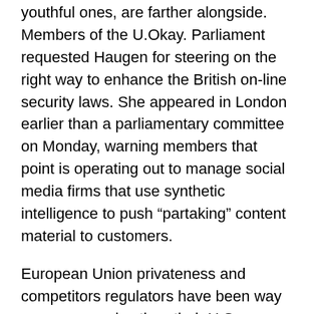youthful ones, are farther alongside. Members of the U.Okay. Parliament requested Haugen for steering on the right way to enhance the British on-line security laws. She appeared in London earlier than a parliamentary committee on Monday, warning members that point is operating out to manage social media firms that use synthetic intelligence to push “partaking” content material to customers.
European Union privateness and competitors regulators have been way more aggressive than their U.S. counterparts in bridling the tech giants. They’ve levied multibillion-dollar fines on among the firms and adopted sweeping new guidelines lately. The U.Okay. established a brand new regulator for Fb and Google this spring.
U.S. regulators solely kicked into gear in 2019, when the Federal Commerce Fee fined Fb $5 billion, and YouTube $170 million in separate circumstances for